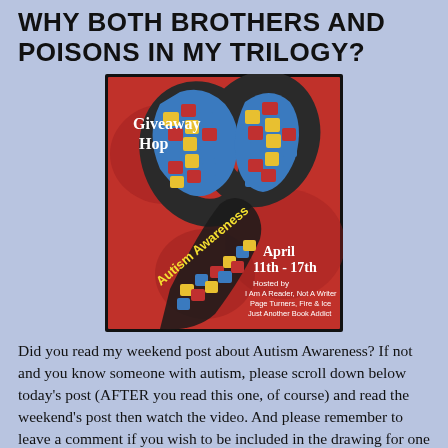WHY BOTH BROTHERS AND POISONS IN MY TRILOGY?
[Figure (illustration): Autism Awareness Giveaway Hop image. Red background with an autism awareness ribbon made of puzzle pieces in blue, yellow, red, and black. Text reads: Giveaway Hop, Autism Awareness, April 11th - 17th, Hosted by I Am A Reader, Not A Writer, Page Turners, Fire & Ice, Just Another Book Addict.]
Did you read my weekend post about Autism Awareness? If not and you know someone with autism, please scroll down below today's post (AFTER you read this one, of course) and read the weekend's post then watch the video. And please remember to leave a comment if you wish to be included in the drawing for one of my books, winner's choice. Remember to leave your email with your comment.